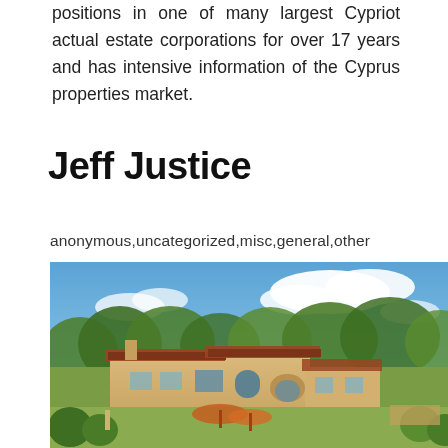positions in one of many largest Cypriot actual estate corporations for over 17 years and has intensive information of the Cyprus properties market.
Jeff Justice
anonymous,uncategorized,misc,general,other
[Figure (photo): Exterior photo of a large Spanish-style estate home with terracotta roof tiles, stucco walls, arched openings, surrounded by lush trees and landscaped gardens under a blue sky with clouds.]